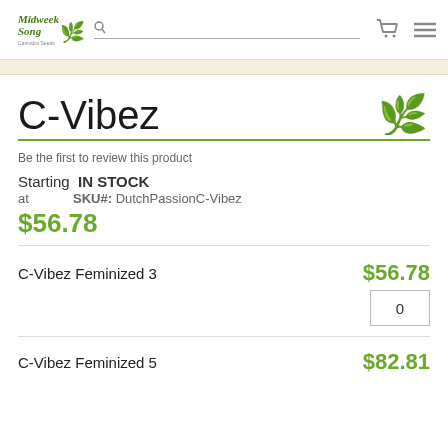Midweek Song [logo with cannabis leaf]
C-Vibez
Be the first to review this product
Starting IN STOCK
at   SKU#: DutchPassionC-Vibez
$56.78
C-Vibez Feminized 3   $56.78
0
C-Vibez Feminized 5   $82.81